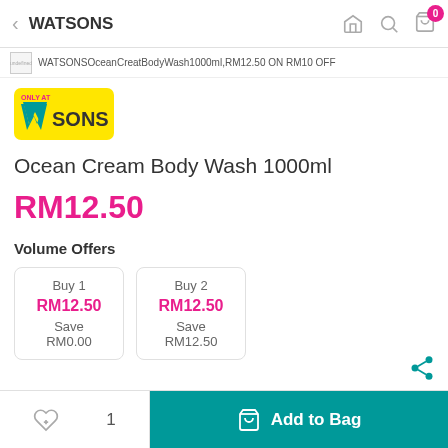WATSONS
WATSONSOceanCreatBodyWash1000ml,RM12.50 ON RM10 OFF
[Figure (logo): Watsons logo - yellow rounded rectangle with W shape and SONS text, ONLY AT label]
Ocean Cream Body Wash 1000ml
RM12.50
Volume Offers
| Buy 1 | Buy 2 |
| RM12.50 | RM12.50 |
| Save | Save |
| RM0.00 | RM12.50 |
♡  1  Add to Bag